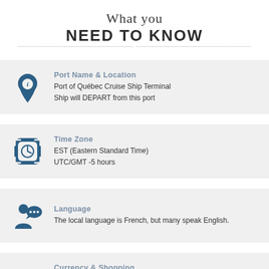What you NEED TO KNOW
Port Name & Location
Port of Québec Cruise Ship Terminal
Ship will DEPART from this port
Time Zone
EST (Eastern Standard Time)
UTC/GMT -5 hours
Language
The local language is French, but many speak English.
Currency & Shopping
Canadian Dollar (CAD)
Many shops will accept US dollars.